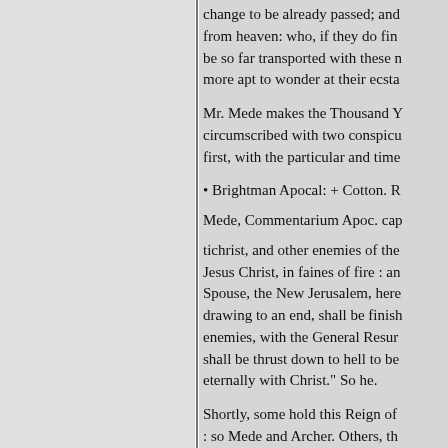change to be already passed: and from heaven: who, if they do fin be so far transported with these more apt to wonder at their ecsta
Mr. Mede makes the Thousand Y circumscribed with two conspicu first, with the particular and time
• Brightman Apocal: + Cotton. R
Mede, Commentarium Apoc. cap
tichrist, and other enemies of the Jesus Christ, in faines of fire : an Spouse, the New Jerusalem, here drawing to an end, shall be finish enemies, with the General Resur shall be thrust down to hell to be eternally with Christ." So he.
Shortly, some hold this Reign of : so Mede and Archer. Others, th Alstedius. Others leave it in med
And, lastly, whereas this King Resurrection spiritually to be un